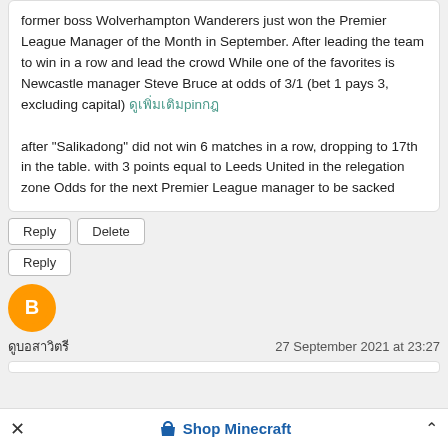former boss Wolverhampton Wanderers just won the Premier League Manager of the Month in September. After leading the team to win in a row and lead the crowd While one of the favorites is Newcastle manager Steve Bruce at odds of 3/1 (bet 1 pays 3, excluding capital) [Thai text link] after "Salikadong" did not win 6 matches in a row, dropping to 17th in the table. with 3 points equal to Leeds United in the relegation zone Odds for the next Premier League manager to be sacked
Reply | Delete
Reply
[Figure (illustration): Orange circular Blogger avatar icon with white B logo]
[Thai username] | 27 September 2021 at 23:27
Shop Minecraft